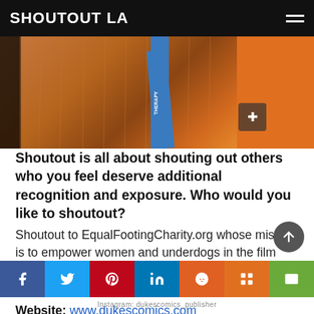SHOUTOUT LA
[Figure (photo): Close-up photo of a golden-furred dog wearing a blue service/therapy harness, with an orange background visible on the right side.]
Shoutout is all about shouting out others who you feel deserve additional recognition and exposure. Who would you like to shoutout? Shoutout to EqualFootingCharity.org whose mission is to empower women and underdogs in the film industry to tell their stories and get their projects off the ground.
Website: www.dukescomics.com
Instagram: dukescomics_publisher